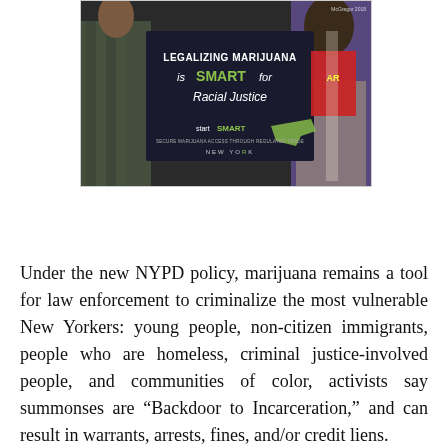[Figure (photo): Protest photo showing a person holding a dark sign reading 'LEGALIZING MARIJUANA is SMART for Racial Justice' with the start SMART New York logo. Other protesters visible in background.]
Under the new NYPD policy, marijuana remains a tool for law enforcement to criminalize the most vulnerable New Yorkers: young people, non-citizen immigrants, people who are homeless, criminal justice-involved people, and communities of color, activists say summonses are “Backdoor to Incarceration,” and can result in warrants, arrests, fines, and/or credit liens.